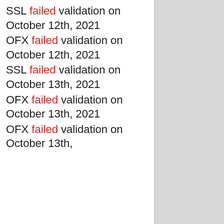SSL failed validation on October 12th, 2021
OFX failed validation on October 12th, 2021
SSL failed validation on October 13th, 2021
OFX failed validation on October 13th, 2021
OFX failed validation on October 13th, 2021